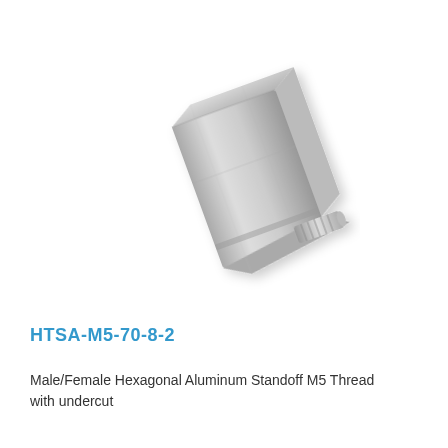[Figure (photo): Photograph of a Male/Female Hexagonal Aluminum Standoff with M5 thread and undercut. The standoff is silver/metallic colored with a hexagonal body and a threaded male stud extending from the bottom right.]
HTSA-M5-70-8-2
Male/Female Hexagonal Aluminum Standoff M5 Thread with undercut